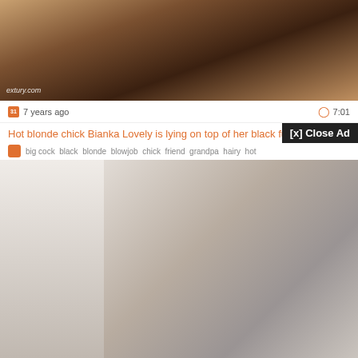[Figure (screenshot): Video thumbnail showing adult content, top portion of a video player page]
7 years ago
7:01
Hot blonde chick Bianka Lovely is lying on top of her black fucker frien...
[x] Close Ad
big cock  black  blonde  blowjob  chick  friend  grandpa  hairy  hot
[Figure (screenshot): Video thumbnail showing a woman seated on a chair in an office-like setting]